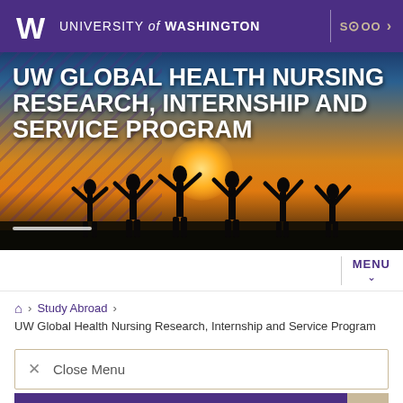UNIVERSITY of WASHINGTON | SCHOOL
[Figure (photo): Hero image showing silhouettes of people with arms raised against a sunset background, with large white text overlay: UW GLOBAL HEALTH NURSING RESEARCH, INTERNSHIP AND SERVICE PROGRAM]
UW GLOBAL HEALTH NURSING RESEARCH, INTERNSHIP AND SERVICE PROGRAM
MENU
🏠 › Study Abroad ›
UW Global Health Nursing Research, Internship and Service Program
✕   Close Menu
Study Abroad